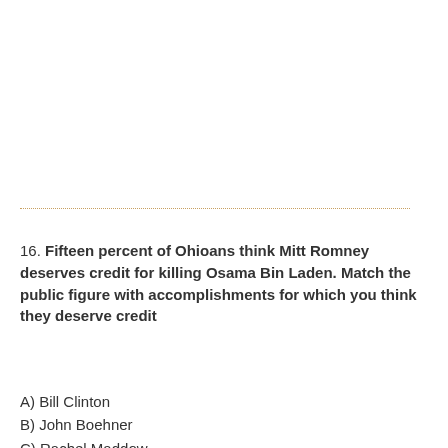16. Fifteen percent of Ohioans think Mitt Romney deserves credit for killing Osama Bin Laden. Match the public figure with accomplishments for which you think they deserve credit
A) Bill Clinton
B) John Boehner
C) Rachel Maddow